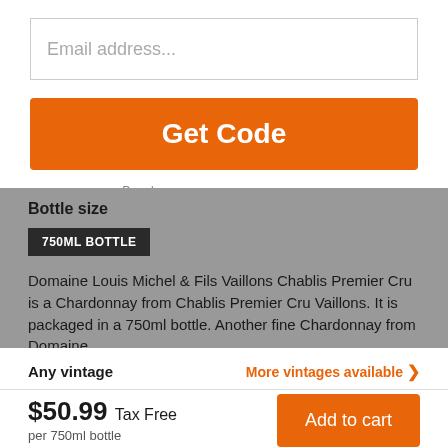Email address...
Get Code
Bottle size
750ML BOTTLE
Domaine Louis Michel & Fils Vaillons Chablis Premier Cru is a Chardonnay from Chablis Premier Cru Vaillons. It is packaged in a 750ml bottle. Another fine Chardonnay from Domaine
Any vintage
More vintages available >
$50.99 Tax Free
per 750ml bottle
Add to cart